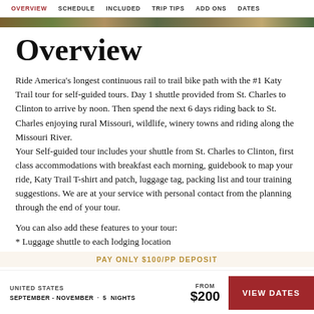OVERVIEW   SCHEDULE   INCLUDED   TRIP TIPS   ADD ONS   DATES
[Figure (photo): Cropped photo strip showing trail/landscape scenery]
Overview
Ride America's longest continuous rail to trail bike path with the #1 Katy Trail tour for self-guided tours. Day 1 shuttle provided from St. Charles to Clinton to arrive by noon. Then spend the next 6 days riding back to St. Charles enjoying rural Missouri, wildlife, winery towns and riding along the Missouri River.
Your Self-guided tour includes your shuttle from St. Charles to Clinton, first class accommodations with breakfast each morning, guidebook to map your ride, Katy Trail T-shirt and patch, luggage tag, packing list and tour training suggestions. We are at your service with personal contact from the planning through the end of your tour.
You can also add these features to your tour:
* Luggage shuttle to each lodging location
PAY ONLY $100/pp DEPOSIT
UNITED STATES   SEPTEMBER - NOVEMBER · 5 NIGHTS   FROM $200   VIEW DATES